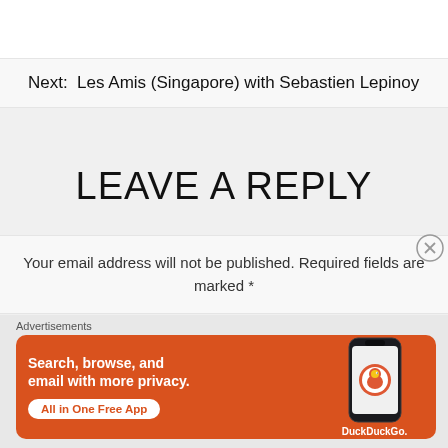Next:  Les Amis (Singapore) with Sebastien Lepinoy
LEAVE A REPLY
Your email address will not be published. Required fields are marked *
Advertisements
[Figure (illustration): DuckDuckGo advertisement banner with orange background. Text reads: Search, browse, and email with more privacy. All in One Free App. Shows a phone with DuckDuckGo logo.]